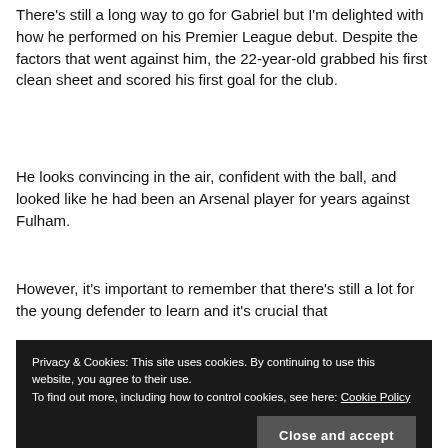There's still a long way to go for Gabriel but I'm delighted with how he performed on his Premier League debut. Despite the factors that went against him, the 22-year-old grabbed his first clean sheet and scored his first goal for the club.
He looks convincing in the air, confident with the ball, and looked like he had been an Arsenal player for years against Fulham.
However, it's important to remember that there's still a lot for the young defender to learn and it's crucial that
Privacy & Cookies: This site uses cookies. By continuing to use this website, you agree to their use.
To find out more, including how to control cookies, see here: Cookie Policy
Gabriel performs against a tougher opponent in West